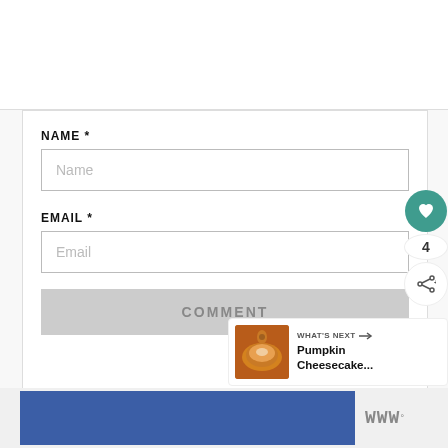NAME *
Name
EMAIL *
Email
COMMENT
[Figure (other): Social widget with heart button (teal, showing count 4) and share button]
[Figure (other): What's Next card with pumpkin cheesecake image and text: WHAT'S NEXT → Pumpkin Cheesecake...]
[Figure (other): Advertisement bar with blue rectangle and logo mark]